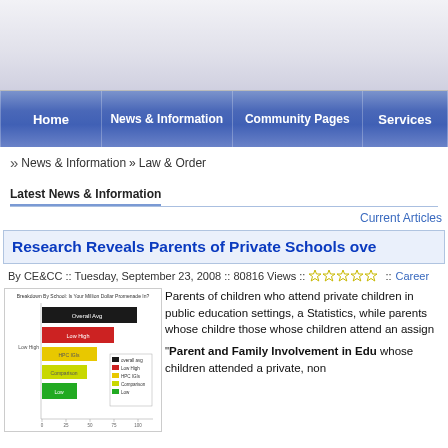[Figure (screenshot): Website header banner area with gray gradient background]
Home | News & Information | Community Pages | Services
>> News & Information » Law & Order
Latest News & Information
Current Articles
Research Reveals Parents of Private Schools ove...
By CE&CC :: Tuesday, September 23, 2008 :: 80816 Views :: [stars] :: Career
[Figure (bar-chart): Horizontal bar chart with colored bars (black, red, yellow, yellow-green, green) showing breakdown by school category]
Parents of children who attend private children in public education settings, a Statistics, while parents whose childre those whose children attend an assign
"Parent and Family Involvement in Edu whose children attended a private, non